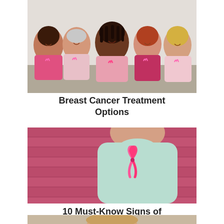[Figure (photo): Five diverse women sitting together, smiling, wearing pink and magenta shirts with pink breast cancer awareness ribbons pinned to their chests. White brick wall background.]
Breast Cancer Treatment Options
[Figure (photo): Woman in a light blue/mint t-shirt with a pink breast cancer awareness ribbon pinned to her chest. Pink brick wall background.]
10 Must-Know Signs of Breast Cancer
[Figure (photo): Partial view of a third photo at the bottom of the page, showing top of a person's head.]